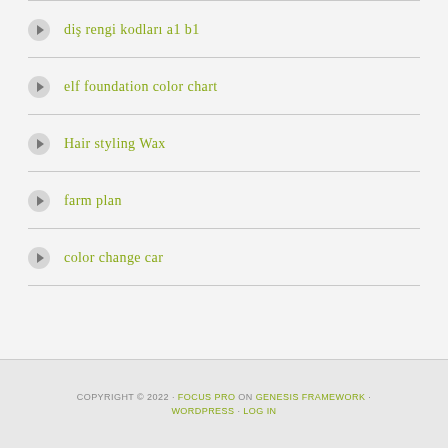diş rengi kodları a1 b1
elf foundation color chart
Hair styling Wax
farm plan
color change car
COPYRIGHT © 2022 · FOCUS PRO ON GENESIS FRAMEWORK · WORDPRESS · LOG IN